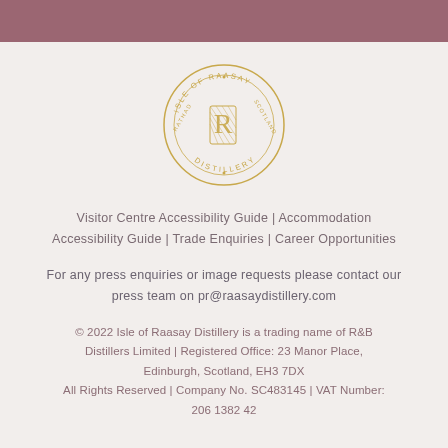[Figure (logo): Isle of Raasay Distillery circular logo in gold, featuring the letter R in the center with text reading ISLE OF RAASAY DISTILLERY RATHAD SCOTLAND around the ring]
Visitor Centre Accessibility Guide | Accommodation Accessibility Guide | Trade Enquiries | Career Opportunities
For any press enquiries or image requests please contact our press team on pr@raasaydistillery.com
© 2022 Isle of Raasay Distillery is a trading name of R&B Distillers Limited | Registered Office: 23 Manor Place, Edinburgh, Scotland, EH3 7DX All Rights Reserved | Company No. SC483145 | VAT Number: 206 1382 42